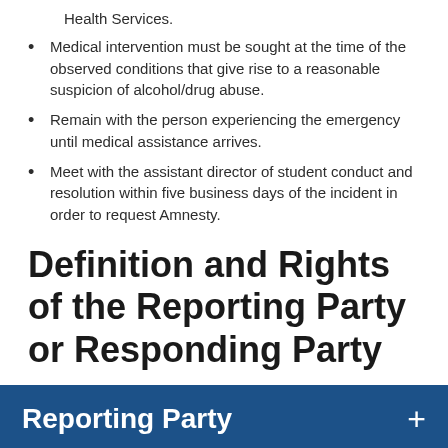Health Services.
Medical intervention must be sought at the time of the observed conditions that give rise to a reasonable suspicion of alcohol/drug abuse.
Remain with the person experiencing the emergency until medical assistance arrives.
Meet with the assistant director of student conduct and resolution within five business days of the incident in order to request Amnesty.
Definition and Rights of the Reporting Party or Responding Party
Reporting Party +